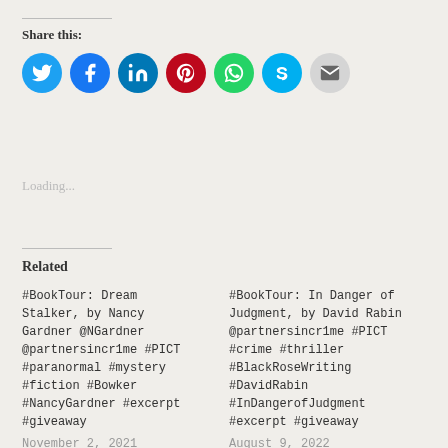Share this:
[Figure (infographic): Row of social media sharing icon circles: Twitter (blue), Facebook (blue), LinkedIn (blue), Pinterest (red), WhatsApp (green), Skype (light blue), Email (gray)]
Loading...
Related
#BookTour: Dream Stalker, by Nancy Gardner @NGardner @partnersincr1me #PICT #paranormal #mystery #fiction #Bowker #NancyGardner #excerpt #giveaway
November 2, 2021
With 1 comment
#BookTour: In Danger of Judgment, by David Rabin @partnersincr1me #PICT #crime #thriller #BlackRoseWriting #DavidRabin #InDangerofJudgment #excerpt #giveaway
August 9, 2022